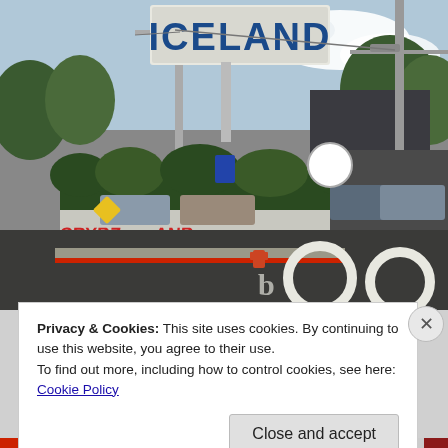[Figure (photo): Street scene photograph showing an 'ICELAND' sign on a pole above a hedge with graffiti ('CRYBZ ANB') on a white wall, cars parked along the street, utility poles, street signs, and road markings visible in the foreground on the asphalt.]
Privacy & Cookies: This site uses cookies. By continuing to use this website, you agree to their use.
To find out more, including how to control cookies, see here: Cookie Policy